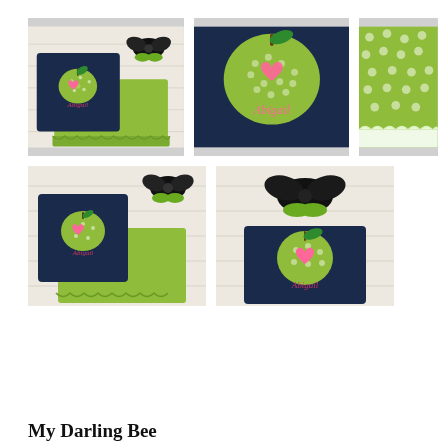[Figure (photo): Top-left photo: navy shirt with green polka dot apple applique with pink heart and 'Abigail' name, green ruffled blanket, black hair bow on wood background]
[Figure (photo): Top-center photo: close-up of navy shirt with large green polka dot apple and pink heart, 'Abigail' in pink script on navy background]
[Figure (photo): Top-right photo: close-up detail of green polka dot fabric with white ruffle trim]
[Figure (photo): Bottom-left photo: similar flat lay with navy shirt, green ruffled blanket, black bow on wood background]
[Figure (photo): Bottom-center photo: black hair bow and navy tote bag/shirt with green polka dot apple and pink heart 'Abigail' on wood background]
My Darling Bee